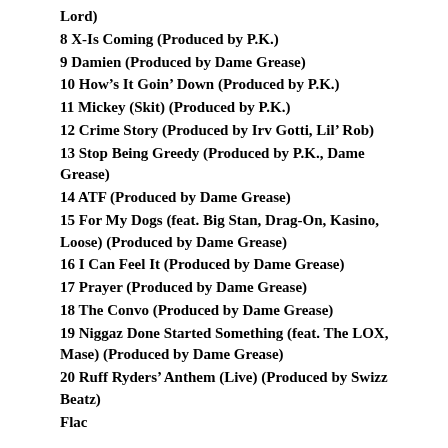Lord)
8 X-Is Coming (Produced by P.K.)
9 Damien (Produced by Dame Grease)
10 How’s It Goin’ Down (Produced by P.K.)
11 Mickey (Skit) (Produced by P.K.)
12 Crime Story (Produced by Irv Gotti, Lil’ Rob)
13 Stop Being Greedy (Produced by P.K., Dame Grease)
14 ATF (Produced by Dame Grease)
15 For My Dogs (feat. Big Stan, Drag-On, Kasino, Loose) (Produced by Dame Grease)
16 I Can Feel It (Produced by Dame Grease)
17 Prayer (Produced by Dame Grease)
18 The Convo (Produced by Dame Grease)
19 Niggaz Done Started Something (feat. The LOX, Mase) (Produced by Dame Grease)
20 Ruff Ryders’ Anthem (Live) (Produced by Swizz Beatz)
Flac